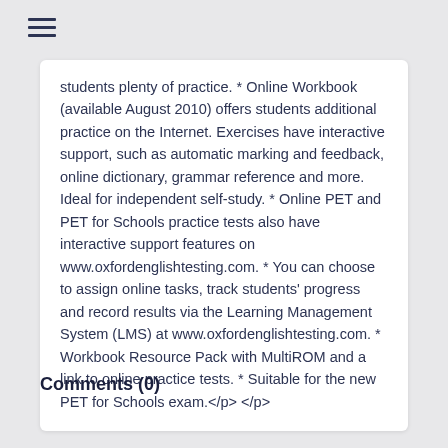students plenty of practice. * Online Workbook (available August 2010) offers students additional practice on the Internet. Exercises have interactive support, such as automatic marking and feedback, online dictionary, grammar reference and more. Ideal for independent self-study. * Online PET and PET for Schools practice tests also have interactive support features on www.oxfordenglishtesting.com. * You can choose to assign online tasks, track students' progress and record results via the Learning Management System (LMS) at www.oxfordenglishtesting.com. * Workbook Resource Pack with MultiROM and a link to online practice tests. * Suitable for the new PET for Schools exam.</p> </p>
Comments (0)